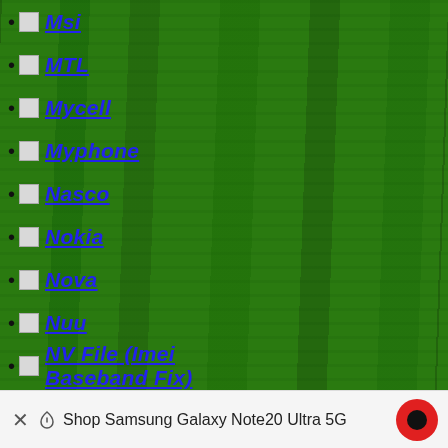Msi
MTL
Mycell
Myphone
Nasco
Nokia
Nova
Nuu
NV File (Imei Baseband Fix)
Qale
Obi
Okapia
Omax
ONYX
Oppo Clone
Orange
Orro
Oukitel
Palma
Panasonic
Panco
Shop Samsung Galaxy Note20 Ultra 5G